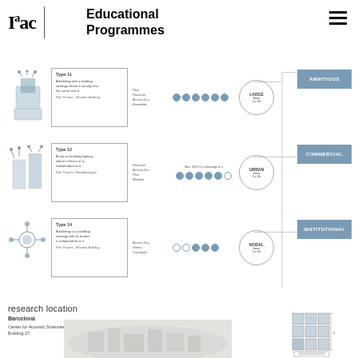[Figure (logo): IAAC logo with serif bold text]
Educational Programmes
[Figure (flowchart): Three-row diagram showing Type 11, Type 12, Type 14 building strategies with dots, circles and outcome labels (AMBITIOUS, COMMERCIAL, INSTITUTIONAL) connected by lines]
research location
Barcelona
Center for Acustic Sciences
Building 27
[Figure (photo): Aerial view of Barcelona city model]
[Figure (schematic): Grid floor plan diagram with module layout]